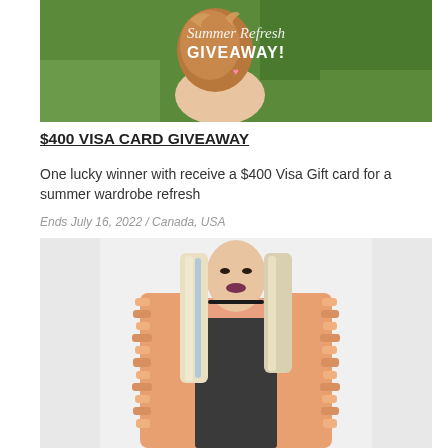[Figure (photo): Photo showing a hand holding a drink or food item outdoors on green grass, with text overlay reading 'Summer Refresh GIVEAWAY!']
$400 VISA CARD GIVEAWAY
One lucky winner with receive a $400 Visa Gift card for a summer wardrobe refresh
Ends July 16, 2022 / Canada, USA
[Figure (photo): Photo of a woman with long blonde hair wearing a pink/salmon furry jacket over a dark top, standing indoors]